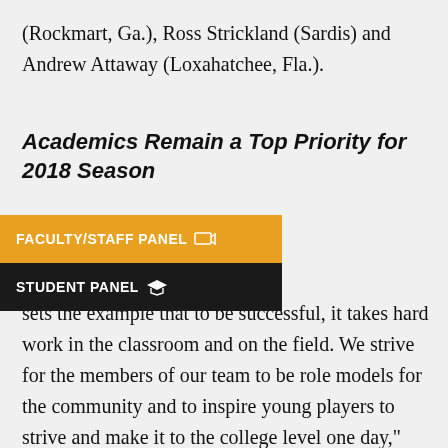(Rockmart, Ga.), Ross Strickland (Sardis) and Andrew Attaway (Loxahatchee, Fla.).
Academics Remain a Top Priority for 2018 Season
[Figure (screenshot): FACULTY/STAFF PANEL button overlay with gold background and white text, and a STUDENT PANEL button below with dark/black background and white text]
sets the example that to be successful, it takes hard work in the classroom and on the field. We strive for the members of our team to be role models for the community and to inspire young players to strive and make it to the college level one day," said Coach Ledbetter. "We want to see our entire sophomore class graduate with their degree, return to the Alabama Community College Conference Tournament and finish in the top five in the ACCC."